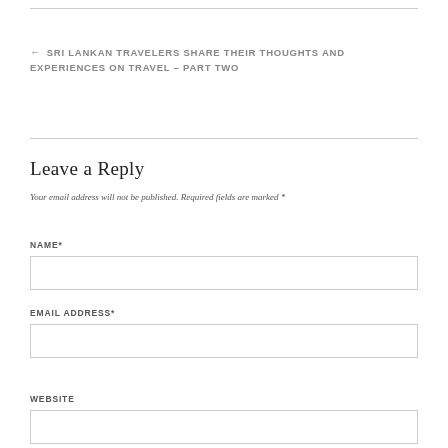← SRI LANKAN TRAVELERS SHARE THEIR THOUGHTS AND EXPERIENCES ON TRAVEL – PART TWO
Leave a Reply
Your email address will not be published. Required fields are marked *
NAME*
EMAIL ADDRESS*
WEBSITE